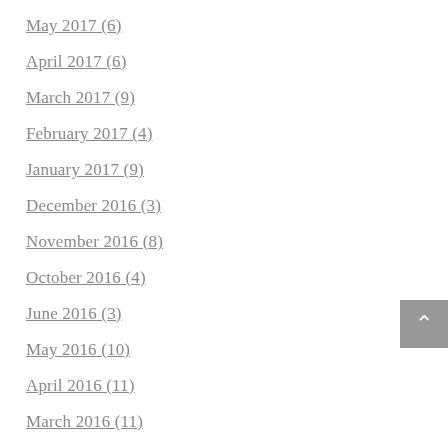May 2017 (6)
April 2017 (6)
March 2017 (9)
February 2017 (4)
January 2017 (9)
December 2016 (3)
November 2016 (8)
October 2016 (4)
June 2016 (3)
May 2016 (10)
April 2016 (11)
March 2016 (11)